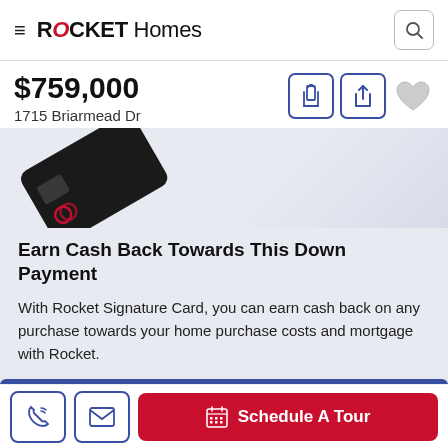ROCKET Homes
$759,000
1715 Briarmead Dr
[Figure (photo): Dark credit card (Rocket Signature Card) tilted diagonally on a light purple/grey background]
Earn Cash Back Towards This Down Payment
With Rocket Signature Card, you can earn cash back on any purchase towards your home purchase costs and mortgage with Rocket.
Schedule A Tour